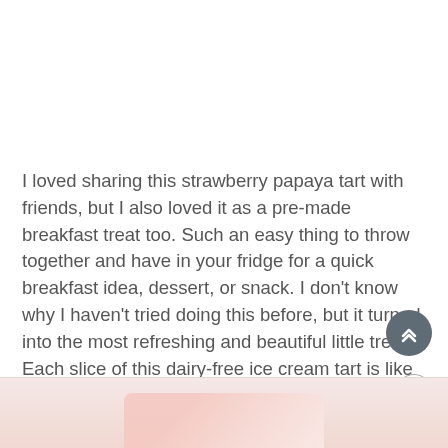I loved sharing this strawberry papaya tart with friends, but I also loved it as a pre-made breakfast treat too. Such an easy thing to throw together and have in your fridge for a quick breakfast idea, dessert, or snack. I don't know why I haven't tried doing this before, but it turned into the most refreshing and beautiful little treat. Each slice of this dairy-free ice cream tart is like a jumbo burst of flavor — and it's made pretty much entirely out of fruit from the ground up.
[Figure (photo): Partial bottom image showing a strawberry papaya tart, pinkish-colored dessert visible at bottom of page]